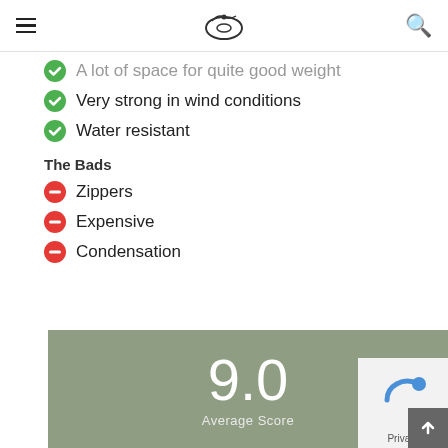Navigation header with logo and search
A lot of space for quite good weight
Very strong in wind conditions
Water resistant
The Bads
Zippers
Expensive
Condensation
[Figure (infographic): Score box showing 9.0 Average Score on a sage/olive green background]